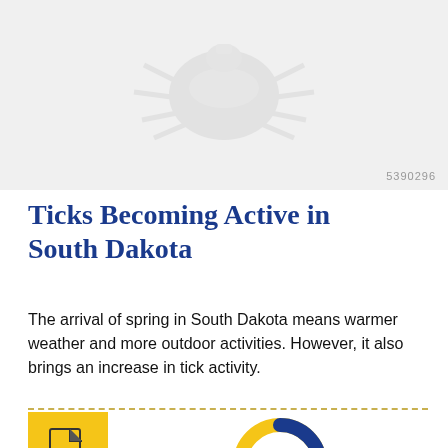[Figure (photo): Faint grayscale photo of a tick or outdoor scene, light gray background with watermark number 5390296]
Ticks Becoming Active in South Dakota
The arrival of spring in South Dakota means warmer weather and more outdoor activities. However, it also brings an increase in tick activity.
[Figure (other): Yellow square PDF document icon]
[Figure (donut-chart): Partial donut chart in yellow and blue, partially cut off at bottom of page]